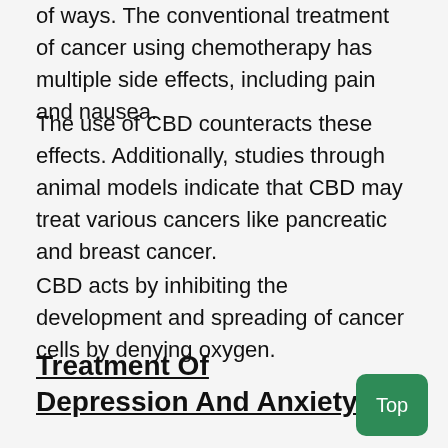of ways. The conventional treatment of cancer using chemotherapy has multiple side effects, including pain and nausea.
The use of CBD counteracts these effects. Additionally, studies through animal models indicate that CBD may treat various cancers like pancreatic and breast cancer.
CBD acts by inhibiting the development and spreading of cancer cells by denying oxygen.
Treatment Of Depression And Anxiety
Some partial text cut off at bottom of page